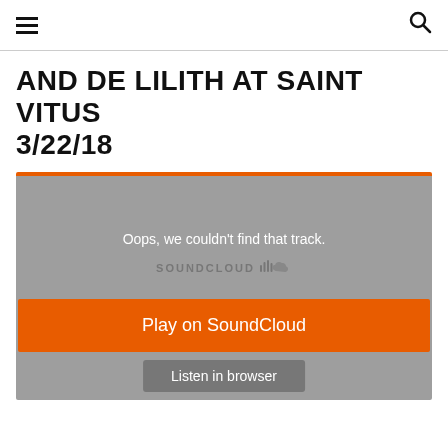≡  🔍
AND DE LILITH AT SAINT VITUS 3/22/18
[Figure (screenshot): Embedded SoundCloud player widget with grey background and orange top border. Shows error message 'Oops, we couldn't find that track.' with SoundCloud logo, an orange 'Play on SoundCloud' button, and a grey 'Listen in browser' button.]